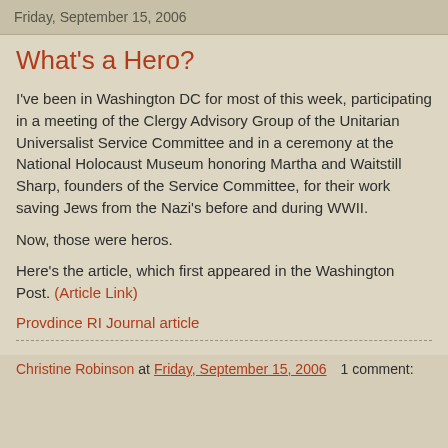Friday, September 15, 2006
What's a Hero?
I've been in Washington DC for most of this week, participating in a meeting of the Clergy Advisory Group of the Unitarian Universalist Service Committee and in a ceremony at the National Holocaust Museum honoring Martha and Waitstill Sharp, founders of the Service Committee, for their work saving Jews from the Nazi's before and during WWII.
Now, those were heros.
Here's the article, which first appeared in the Washington Post. (Article Link)
Provdince RI Journal article
Christine Robinson at Friday, September 15, 2006    1 comment: